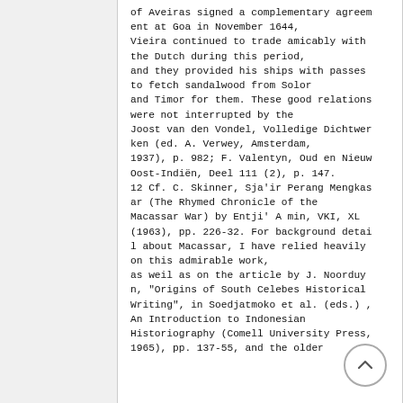of Aveiras signed a complementary agreement at Goa in November 1644, Vieira continued to trade amicably with the Dutch during this period, and they provided his ships with passes to fetch sandalwood from Solor and Timor for them. These good relations were not interrupted by the Joost van den Vondel, Volledige Dichtwerken (ed. A. Verwey, Amsterdam, 1937), p. 982; F. Valentyn, Oud en Nieuw Oost-Indiën, Deel 111 (2), p. 147. 12 Cf. C. Skinner, Sja'ir Perang Mengkasar (The Rhymed Chronicle of the Macassar War) by Entji' A min, VKI, XL (1963), pp. 226-32. For background detail about Macassar, I have relied heavily on this admirable work, as weil as on the article by J. Noorduyn, "Origins of South Celebes Historical Writing", in Soedjatmoko et al. (eds.), An Introduction to Indonesian Historiography (Comell University Press, 1965), pp. 137-55, and the older